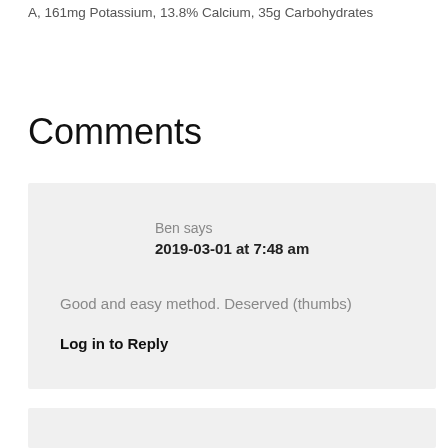A, 161mg Potassium, 13.8% Calcium, 35g Carbohydrates
Comments
Ben says
2019-03-01 at 7:48 am
Good and easy method. Deserved (thumbs)
Log in to Reply